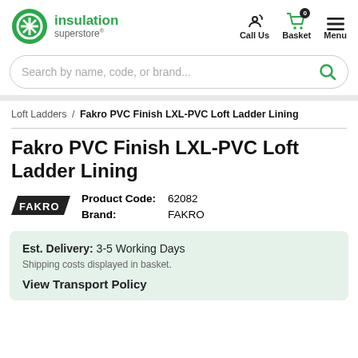insulation superstore® — Call Us | Basket 0 | Menu
Search by name, code, or brand...
Loft Ladders / Fakro PVC Finish LXL-PVC Loft Ladder Lining
Fakro PVC Finish LXL-PVC Loft Ladder Lining
Product Code: 62082
Brand: FAKRO
Est. Delivery: 3-5 Working Days
Shipping costs displayed in basket.
View Transport Policy